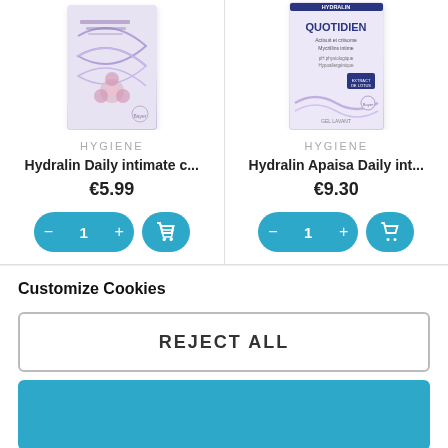[Figure (screenshot): Product card for Hydralin Daily intimate care product with purple/lavender box design]
[Figure (screenshot): Product card for Hydralin Apaisa Daily intimate care product with purple/white box labeled QUOTIDIEN]
HYGIENE
Hydralin Daily intimate c...
€5.99
HYGIENE
Hydralin Apaisa Daily int...
€9.30
Customize Cookies
REJECT ALL
[Figure (screenshot): Blue accept/confirm button at the bottom of cookie consent dialog]